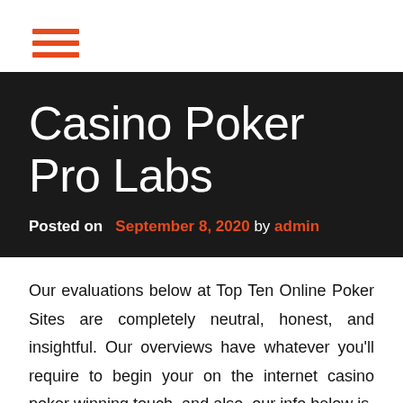[Figure (other): Hamburger menu icon with three horizontal orange lines]
Casino Poker Pro Labs
Posted on September 8, 2020 by admin
Our evaluations below at Top Ten Online Poker Sites are completely neutral, honest, and insightful. Our overviews have whatever you'll require to begin your on the internet casino poker winning touch, and also, our info below is